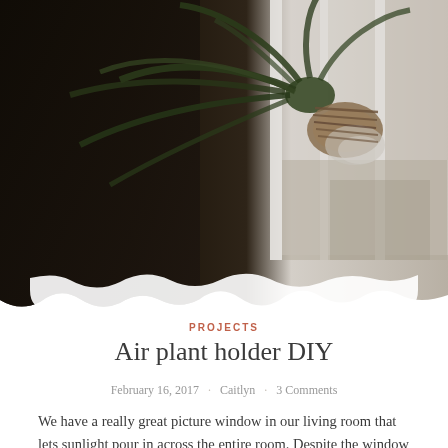[Figure (photo): Close-up photograph of an air plant (tillandsia) held in a glass jar wrapped with rope/twine, hanging near a window. Dark background on left, bright window light on right with outdoor scenery visible.]
PROJECTS
Air plant holder DIY
February 16, 2017 · Caitlyn · 3 Comments
We have a really great picture window in our living room that lets sunlight pour in across the entire room. Despite the window looking